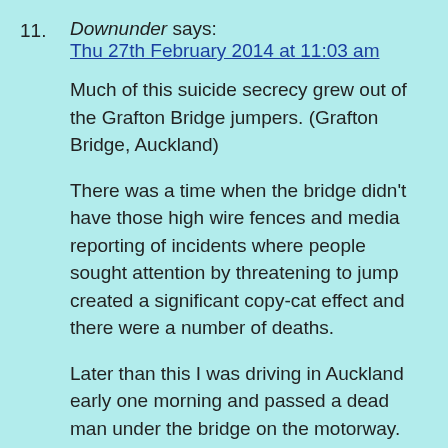11. Downunder says: Thu 27th February 2014 at 11:03 am

Much of this suicide secrecy grew out of the Grafton Bridge jumpers. (Grafton Bridge, Auckland)

There was a time when the bridge didn't have those high wire fences and media reporting of incidents where people sought attention by threatening to jump created a significant copy-cat effect and there were a number of deaths.

Later than this I was driving in Auckland early one morning and passed a dead man under the bridge on the motorway. That was never reported in the news so it is possible that all that was achieved was to stop the attention seeking rather than the deaths.